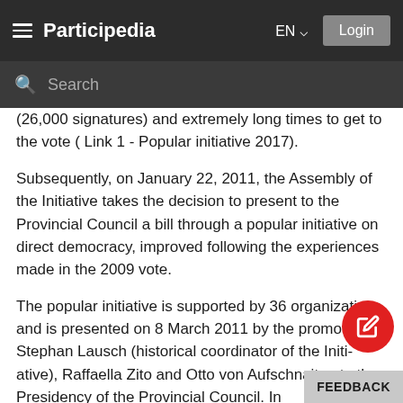Participedia
(26,000 signatures) and extremely long times to get to the vote ( Link 1 - Popular initiative 2017).
Subsequently, on January 22, 2011, the Assembly of the Initiative takes the decision to present to the Provincial Council a bill through a popular initiative on direct democracy, improved following the experiences made in the 2009 vote.
The popular initiative is supported by 36 organizations and is presented on 8 March 2011 by the promoters Stephan Lausch (historical coordinator of the Initiative), Raffaella Zito and Otto von Aufschnaiter, to the Presidency of the Provincial Council. In